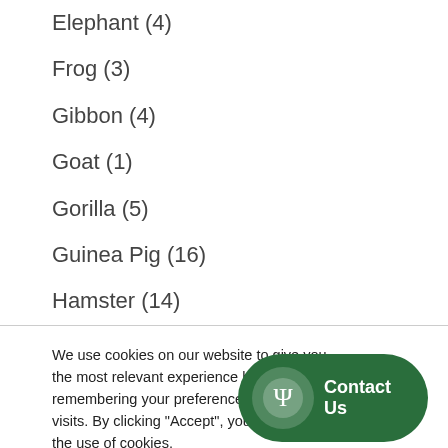Elephant (4)
Frog (3)
Gibbon (4)
Goat (1)
Gorilla (5)
Guinea Pig (16)
Hamster (14)
We use cookies on our website to give you the most relevant experience by remembering your preferences and repeat visits. By clicking “Accept”, you consent to the use of cookies.
Accept
Reject
Contact Us
[Figure (illustration): Green rounded rectangle button with psi symbol circle and 'Contact Us' text]